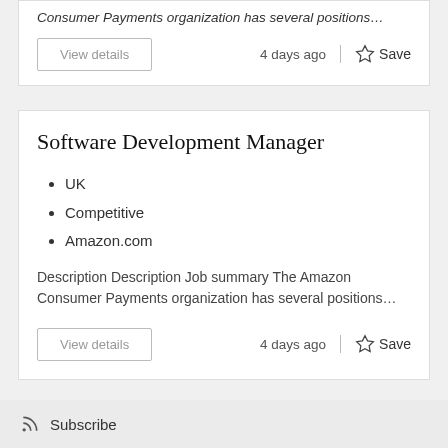Consumer Payments organization has several positions…
4 days ago
Save
Software Development Manager
UK
Competitive
Amazon.com
Description Description Job summary The Amazon Consumer Payments organization has several positions…
4 days ago
Save
Subscribe